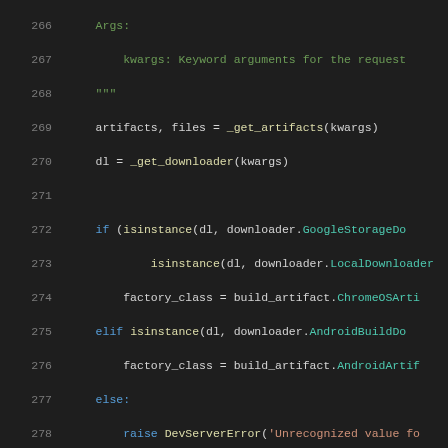[Figure (screenshot): Python source code snippet showing lines 266–286, with syntax highlighting. Dark background IDE/editor style. Contains docstring Args block, artifact retrieval, downloader type checking, factory class assignment, and a function definition.]